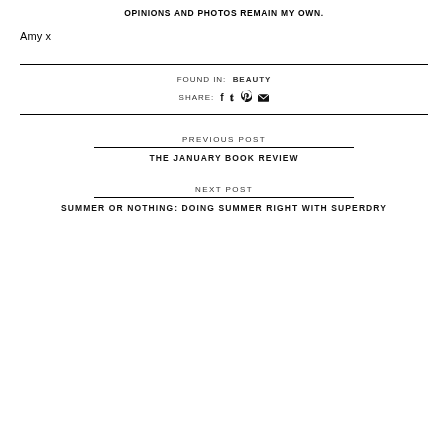OPINIONS AND PHOTOS REMAIN MY OWN.
Amy x
FOUND IN:  BEAUTY
SHARE:  [facebook] [twitter] [pinterest] [email]
PREVIOUS POST
THE JANUARY BOOK REVIEW
NEXT POST
SUMMER OR NOTHING: DOING SUMMER RIGHT WITH SUPERDRY